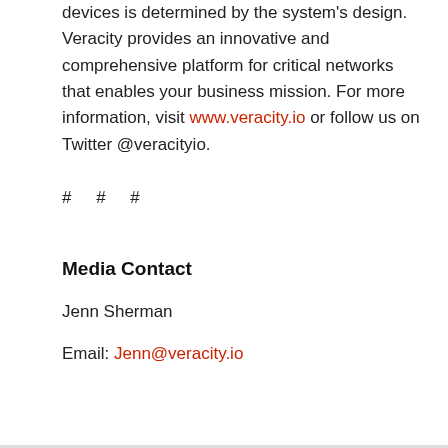devices is determined by the system's design. Veracity provides an innovative and comprehensive platform for critical networks that enables your business mission. For more information, visit www.veracity.io or follow us on Twitter @veracityio.
# # #
Media Contact
Jenn Sherman
Email: Jenn@veracity.io